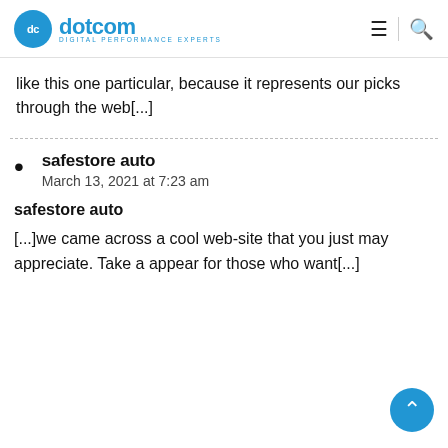dotcom — DIGITAL PERFORMANCE EXPERTS
like this one particular, because it represents our picks through the web[...]
safestore auto — March 13, 2021 at 7:23 am — safestore auto — [...]we came across a cool web-site that you just may appreciate. Take a appear for those who want[...]